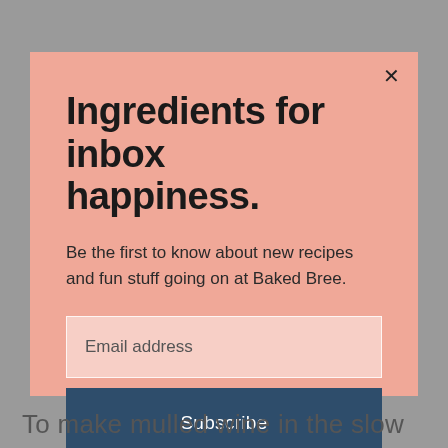Ingredients for inbox happiness.
Be the first to know about new recipes and fun stuff going on at Baked Bree.
Email address
Subscribe
To make mulled wine in the slow